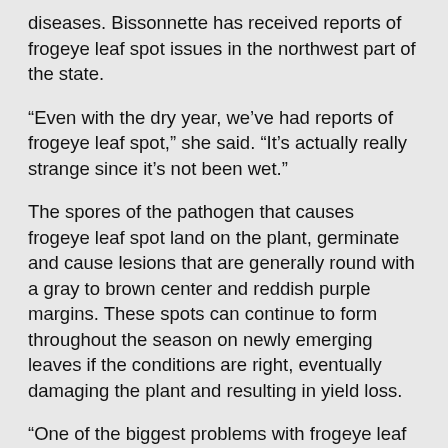diseases. Bissonnette has received reports of frogeye leaf spot issues in the northwest part of the state.
“Even with the dry year, we’ve had reports of frogeye leaf spot,” she said. “It’s actually really strange since it’s not been wet.”
The spores of the pathogen that causes frogeye leaf spot land on the plant, germinate and cause lesions that are generally round with a gray to brown center and reddish purple margins. These spots can continue to form throughout the season on newly emerging leaves if the conditions are right, eventually damaging the plant and resulting in yield loss.
“One of the biggest problems with frogeye leaf spot in Missouri is that fungicide resistant isolates of the pathogen have been detected in the southeast part of the state,” Bissonnette said. “This pathogen also produces a lot of spores and can progress quickly.”